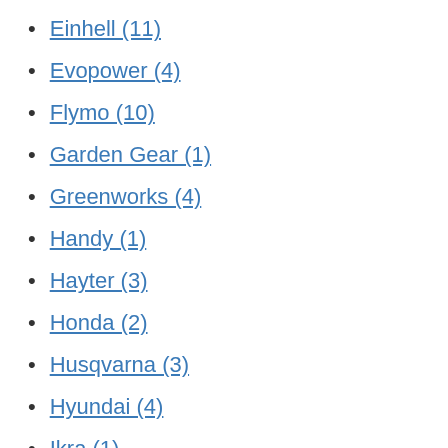Einhell (11)
Evopower (4)
Flymo (10)
Garden Gear (1)
Greenworks (4)
Handy (1)
Hayter (3)
Honda (2)
Husqvarna (3)
Hyundai (4)
Ikra (1)
John Deere (5)